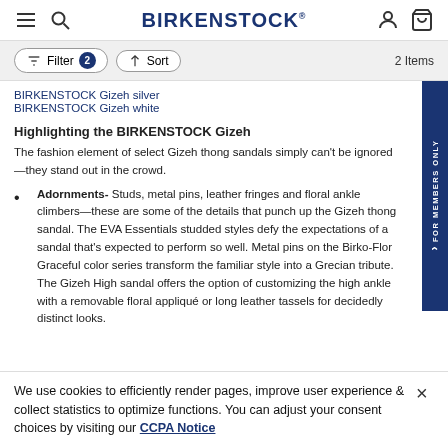BIRKENSTOCK
Filter 2   Sort   2 Items
BIRKENSTOCK Gizeh silver
BIRKENSTOCK Gizeh white
Highlighting the BIRKENSTOCK Gizeh
The fashion element of select Gizeh thong sandals simply can't be ignored—they stand out in the crowd.
Adornments- Studs, metal pins, leather fringes and floral ankle climbers—these are some of the details that punch up the Gizeh thong sandal. The EVA Essentials studded styles defy the expectations of a sandal that's expected to perform so well. Metal pins on the Birko-Flor Graceful color series transform the familiar style into a Grecian tribute. The Gizeh High sandal offers the option of customizing the high ankle with a removable floral appliqué or long leather tassels for decidedly distinct looks.
We use cookies to efficiently render pages, improve user experience & collect statistics to optimize functions. You can adjust your consent choices by visiting our CCPA Notice